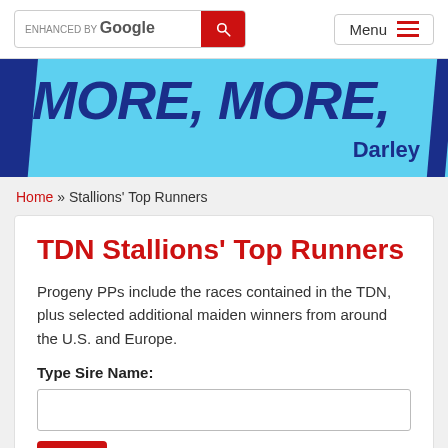ENHANCED BY Google [search button] Menu [hamburger menu]
[Figure (illustration): Darley advertisement banner with text 'MORE, MORE,' in bold italic dark blue on light blue background with 'Darley' branding bottom right]
Home » Stallions' Top Runners
TDN Stallions' Top Runners
Progeny PPs include the races contained in the TDN, plus selected additional maiden winners from around the U.S. and Europe.
Type Sire Name:
Go